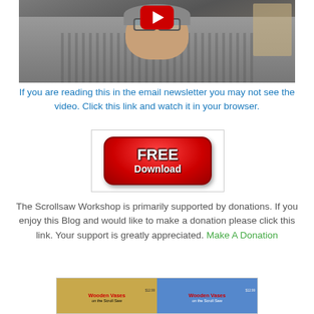[Figure (screenshot): Video thumbnail showing an elderly man in a plaid shirt with a YouTube play button overlay]
If you are reading this in the email newsletter you may not see the video. Click this link and watch it in your browser.
[Figure (illustration): Red rounded rectangle FREE Download button]
The Scrollsaw Workshop is primarily supported by donations. If you enjoy this Blog and would like to make a donation please click this link. Your support is greatly appreciated. Make A Donation
[Figure (photo): Two book covers for Wooden Vases on the Scroll Saw side by side — one with tan/gold background, one with blue background]